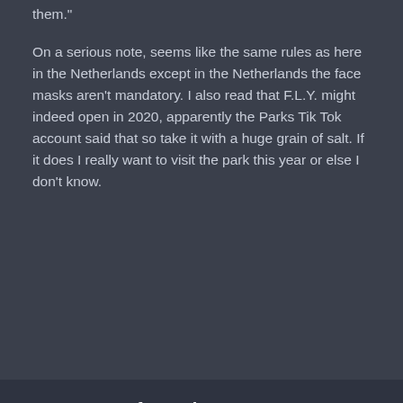them."

On a serious note, seems like the same rules as here in the Netherlands except in the Netherlands the face masks aren't mandatory. I also read that F.L.Y. might indeed open in 2020, apparently the Parks Tik Tok account said that so take it with a huge grain of salt. If it does I really want to visit the park this year or else I don't know.
Important Information
Terms of Use https://themeparkreview.com/forum/topic/116-terms-of-service-please-read/
✔  I accept